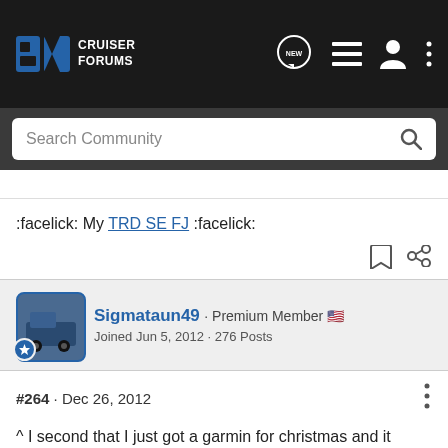Cruiser Forums
:facelick: My TRD SE FJ :facelick:
Sigmataun49 · Premium Member
Joined Jun 5, 2012 · 276 Posts
#264 · Dec 26, 2012
^ I second that I just got a garmin for christmas and it would be great to put a TRD on it!